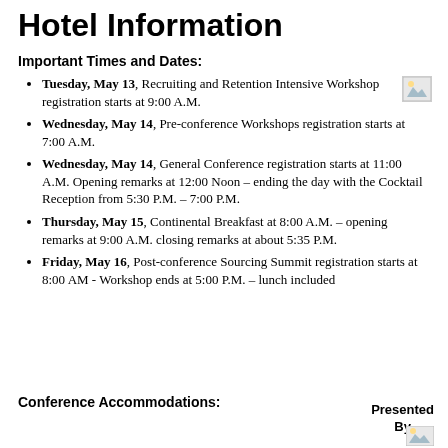Hotel Information
Important Times and Dates:
Tuesday, May 13, Recruiting and Retention Intensive Workshop registration starts at 9:00 A.M.
Wednesday, May 14, Pre-conference Workshops registration starts at 7:00 A.M.
Wednesday, May 14, General Conference registration starts at 11:00 A.M. Opening remarks at 12:00 Noon – ending the day with the Cocktail Reception from 5:30 P.M. – 7:00 P.M.
Thursday, May 15, Continental Breakfast at 8:00 A.M. – opening remarks at 9:00 A.M. closing remarks at about 5:35 P.M.
Friday, May 16, Post-conference Sourcing Summit registration starts at 8:00 AM - Workshop ends at 5:00 P.M. – lunch included
Conference Accommodations:
Presented By